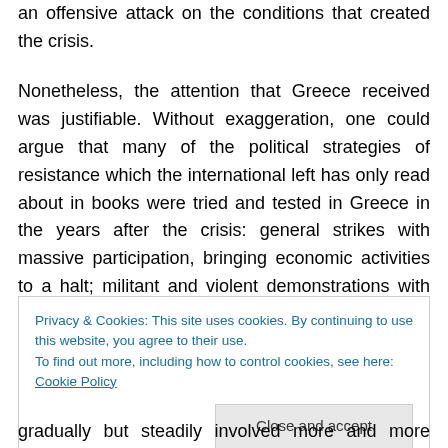an offensive attack on the conditions that created the crisis.
Nonetheless, the attention that Greece received was justifiable. Without exaggeration, one could argue that many of the political strategies of resistance which the international left has only read about in books were tried and tested in Greece in the years after the crisis: general strikes with massive participation, bringing economic activities to a halt; militant and violent demonstrations with constantly growing numbers of participation; neighborhood
Privacy & Cookies: This site uses cookies. By continuing to use this website, you agree to their use.
To find out more, including how to control cookies, see here: Cookie Policy
[Close and accept]
gradually but steadily involved more and more people